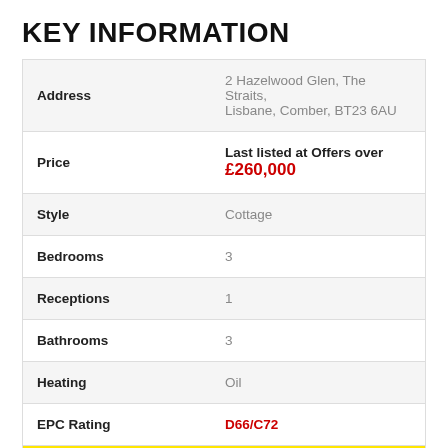KEY INFORMATION
| Field | Value |
| --- | --- |
| Address | 2 Hazelwood Glen, The Straits, Lisbane, Comber, BT23 6AU |
| Price | Last listed at Offers over £260,000 |
| Style | Cottage |
| Bedrooms | 3 |
| Receptions | 1 |
| Bathrooms | 3 |
| Heating | Oil |
| EPC Rating | D66/C72 |
| Status | Sale Agreed |